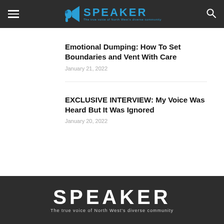SPEAKER — The true voice of North West's diverse community
Emotional Dumping: How To Set Boundaries and Vent With Care
January 21, 2022
EXCLUSIVE INTERVIEW: My Voice Was Heard But It Was Ignored
January 20, 2022
SPEAKER — The true voice of North West's diverse community